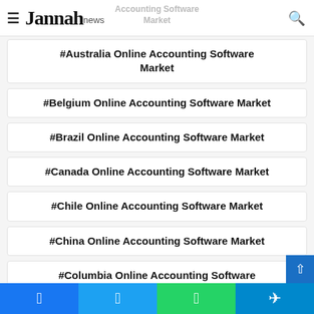Jannah news | Accounting Software Market
#Australia Online Accounting Software Market
#Belgium Online Accounting Software Market
#Brazil Online Accounting Software Market
#Canada Online Accounting Software Market
#Chile Online Accounting Software Market
#China Online Accounting Software Market
#Columbia Online Accounting Software Market
Facebook | Twitter | WhatsApp | Telegram